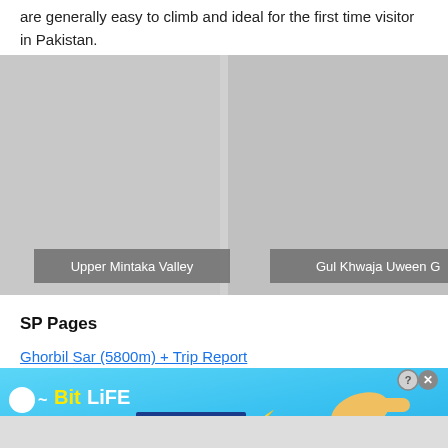are generally easy to climb and ideal for the first time visitor in Pakistan.
[Figure (photo): Two side-by-side photos: left shows Upper Mintaka Valley, right shows Gul Khwaja Uween G (truncated). Both are landscape/mountain photos with gray caption overlays at the bottom.]
Upper Mintaka Valley
Gul Khwaja Uween G
SP Pages
Ghorbil Sar (5800m) + Trip Report
[Figure (screenshot): BitLife advertisement banner with blue gradient background, BitLife logo, 'NOW WITH GOD MODE' text, hand pointer graphic, and close/help buttons.]